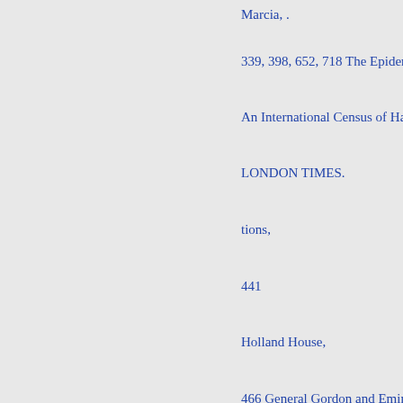Marcia, .
339, 398, 652, 718 The Epidemic
An International Census of Hallu
LONDON TIMES.
tions,
441
Holland House,
466 General Gordon and Emin P
.
.
245
.
510
574
508